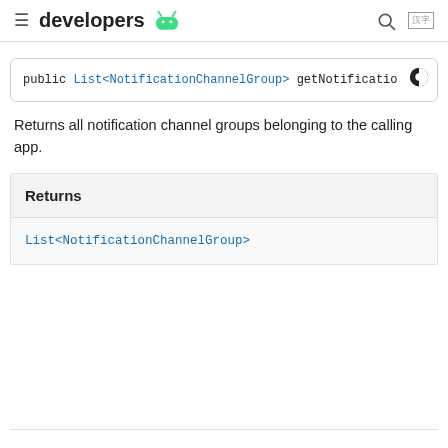developers [android logo]
public List<NotificationChannelGroup> getNotificatio
Returns all notification channel groups belonging to the calling app.
| Returns |
| --- |
| List<NotificationChannelGroup> |